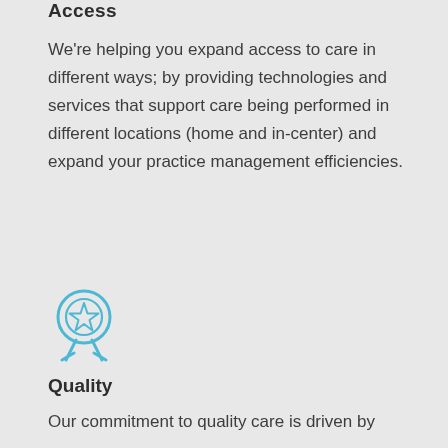Access
We're helping you expand access to care in different ways; by providing technologies and services that support care being performed in different locations (home and in-center) and expand your practice management efficiencies.
[Figure (illustration): Blue outline icon of a medal/award ribbon with a star in the center circle]
Quality
Our commitment to quality care is driven by